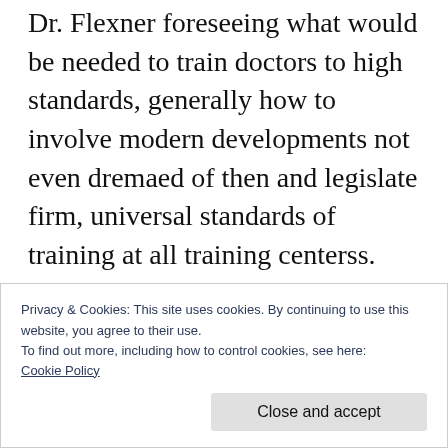Dr. Flexner foreseeing what would be needed to train doctors to high standards, generally how to involve modern developments not even dremaed of then and legislate firm, universal standards of training at all training centerss. For instance courses were standardized and required, and another telling example is that surgery residents started to have to keep verified surgical diaries listing all the procedures they had performed, assissted in, and observed throughout their residencies.
Privacy & Cookies: This site uses cookies. By continuing to use this website, you agree to their use.
To find out more, including how to control cookies, see here:
Cookie Policy